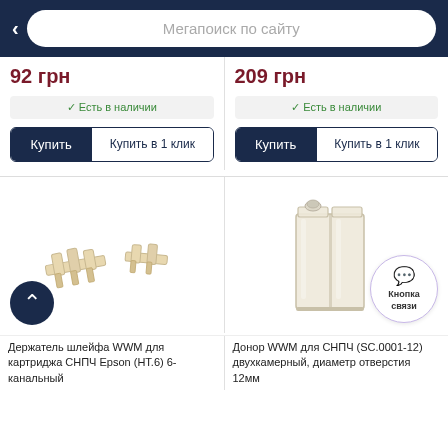Мегапоиск по сайту
92 грн
209 грн
Есть в наличии
Есть в наличии
[Figure (photo): Holder/clip accessory for WWM cartridge СНПЧ Epson HT.6 6-channel — small beige plastic connector parts]
[Figure (photo): Donor WWM for СНПЧ (SC.0001-12) dual-chamber, hole diameter 12mm — transparent plastic rectangular container]
Держатель шлейфа WWM для картриджа СНПЧ Epson (НТ.6) 6-канальный
Донор WWM для СНПЧ (SC.0001-12) двухкамерный, диаметр отверстия 12мм